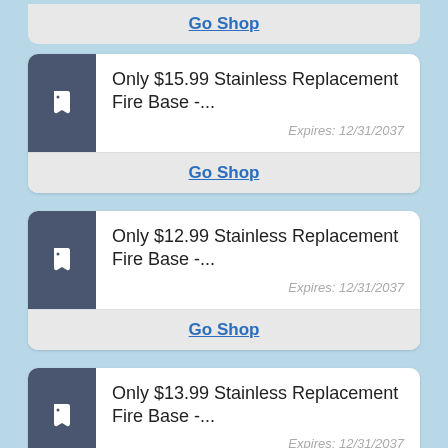Go Shop
Only $15.99 Stainless Replacement Fire Base -...
Expires: 12/31/2037
Go Shop
Only $12.99 Stainless Replacement Fire Base -...
Expires: 12/31/2037
Go Shop
Only $13.99 Stainless Replacement Fire Base -...
Expires: 12/31/2037